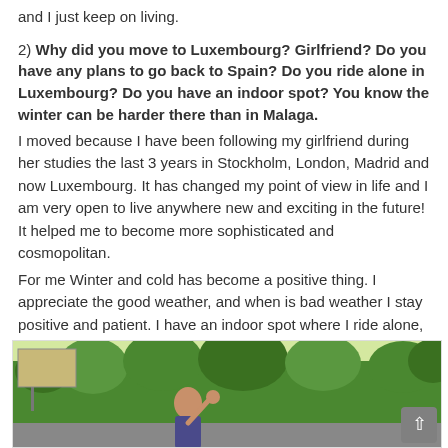and I just keep on living.
2) Why did you move to Luxembourg? Girlfriend? Do you have any plans to go back to Spain? Do you ride alone in Luxembourg? Do you have an indoor spot? You know the winter can be harder there than in Malaga.
I moved because I have been following my girlfriend during her studies the last 3 years in Stockholm, London, Madrid and now Luxembourg. It has changed my point of view in life and I am very open to live anywhere new and exciting in the future! It helped me to become more sophisticated and cosmopolitan.
For me Winter and cold has become a positive thing. I appreciate the good weather, and when is bad weather I stay positive and patient. I have an indoor spot where I ride alone, so I am very lucky! I love the feeling to be able to ride when is super cold outside. It's a nice feeling that I never experienced before.
[Figure (photo): A photo showing a person outdoors with trees in the background, appearing to make a peace sign gesture. There is a billboard visible and an outdoor urban/park setting.]